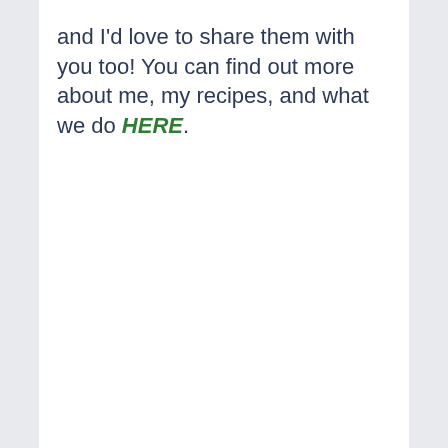and I'd love to share them with you too! You can find out more about me, my recipes, and what we do HERE.